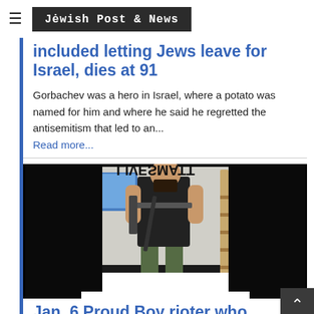Jewish Post & News
included letting Jews leave for Israel, dies at 91
Gorbachev was a hero in Israel, where a potato was named for him and where he said he regretted the antisemitism that led to an...
Read more...
[Figure (photo): A bearded muscular man holding a rifle, standing in a room with a Black Lives Matter rug, with text partially visible at bottom]
Jan. 6 Proud Boy rioter who